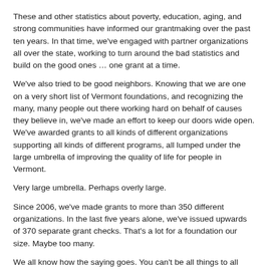These and other statistics about poverty, education, aging, and strong communities have informed our grantmaking over the past ten years.  In that time, we've engaged with partner organizations all over the state, working to turn around the bad statistics and build on the good ones … one grant at a time.
We've also tried to be good neighbors.  Knowing that we are one on a very short list of Vermont foundations, and recognizing the many, many people out there working hard on behalf of causes they believe in, we've made an effort to keep our doors wide open.  We've awarded grants to all kinds of different organizations supporting all kinds of different programs, all lumped under the large umbrella of improving the quality of life for people in Vermont.
Very large umbrella.  Perhaps overly large.
Since 2006, we've made grants to more than 350 different organizations.  In the last five years alone, we've issued upwards of 370 separate grant checks.  That's a lot for a foundation our size.  Maybe too many.
We all know how the saying goes.  You can't be all things to all people.  Much as we might like to try to be, no one is well served by that approach in the end.
Data stories matter.  And our data story tells us it's time for a change.  It's time to narrow our focus, and put more money into the areas that have proven to make the greatest difference in the